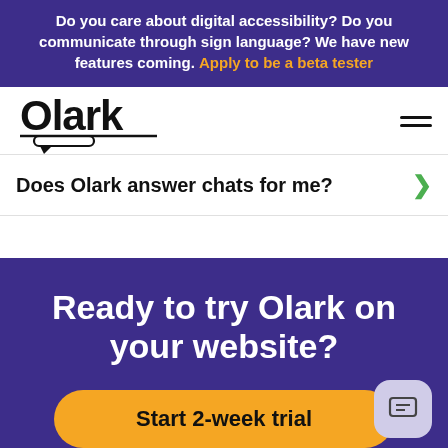Do you care about digital accessibility? Do you communicate through sign language? We have new features coming. Apply to be a beta tester
[Figure (logo): Olark logo with speech bubble underline]
[Figure (other): Hamburger menu icon with two horizontal lines]
Does Olark answer chats for me?
Ready to try Olark on your website?
Start 2-week trial